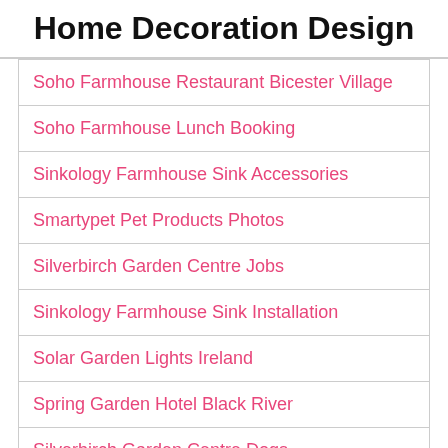Home Decoration Design
Soho Farmhouse Restaurant Bicester Village
Soho Farmhouse Lunch Booking
Sinkology Farmhouse Sink Accessories
Smartypet Pet Products Photos
Silverbirch Garden Centre Jobs
Sinkology Farmhouse Sink Installation
Solar Garden Lights Ireland
Spring Garden Hotel Black River
Silverbirch Garden Centre Dogs
Spray Paint Bathroom Fixtures
Sinkology Farmhouse Sink Drain